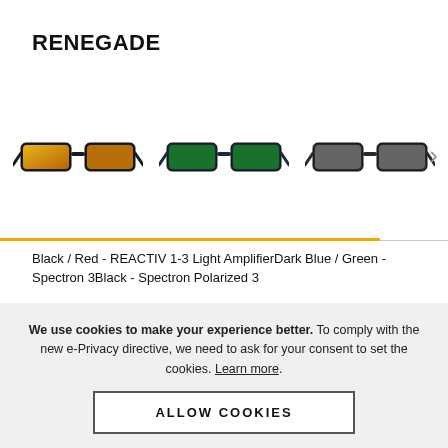RENEGADE
[Figure (photo): Three sunglasses shown in a row: first with orange/gold mirrored lenses and dark frame (Black/Red - REACTIV 1-3 Light Amplifier), second with green mirrored lenses and dark blue frame (Dark Blue/Green - Spectron 3), third with grey lenses and dark frame (Black - Spectron Polarized 3). A right chevron arrow is visible on the right side.]
Black / Red - REACTIV 1-3 Light AmplifierDark Blue / Green - Spectron 3Black - Spectron Polarized 3
€124.95
We use cookies to make your experience better. To comply with the new e-Privacy directive, we need to ask for your consent to set the cookies. Learn more.
ALLOW COOKIES